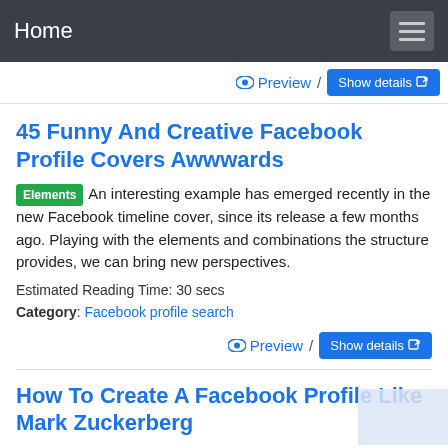Home
Preview / Show details
45 Funny And Creative Facebook Profile Covers Awwwards
Elements An interesting example has emerged recently in the new Facebook timeline cover, since its release a few months ago. Playing with the elements and combinations the structure provides, we can bring new perspectives.
Estimated Reading Time: 30 secs
Category: Facebook profile search
Preview / Show details
How To Create A Facebook Profile Like Mark Zuckerberg